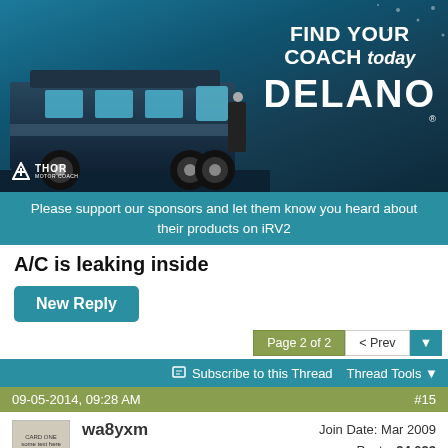[Figure (photo): Banner advertisement for Thor Motor Coach Delano RV. Shows a dark blue/teal motorhome on the left with 'Thor Motor Coach' logo. Right side shows text: FIND YOUR COACH today DELANO.]
Please support our sponsors and let them know you heard about their products on iRV2
A/C is leaking inside
New Reply
Page 2 of 2  < Prev  ▼
Subscribe to this Thread    Thread Tools ▼
09-05-2014, 09:28 AM    #15
wa8yxm
Join Date: Mar 2009
Posts: 24,023
When it is comeing in via the filter I have seen two causes.. For one of them you need to visit the roof with a screwdriver for inspection purposes (Phillips head #2 should do it)